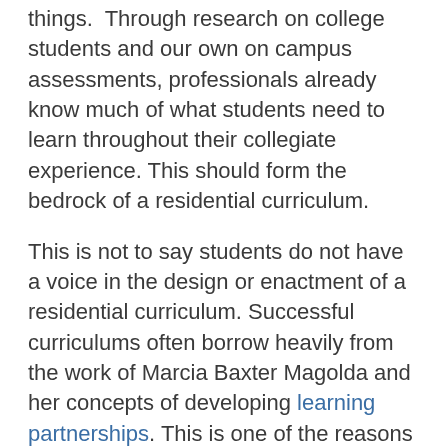things.  Through research on college students and our own on campus assessments, professionals already know much of what students need to learn throughout their collegiate experience. This should form the bedrock of a residential curriculum.
This is not to say students do not have a voice in the design or enactment of a residential curriculum. Successful curriculums often borrow heavily from the work of Marcia Baxter Magolda and her concepts of developing learning partnerships. This is one of the reasons why programming is de-emphasized in a curriculum. Programming often mimics the style of a lecture, with a one way exchange of information. A successful partnership helps set the stage, define parameters, sets measurable